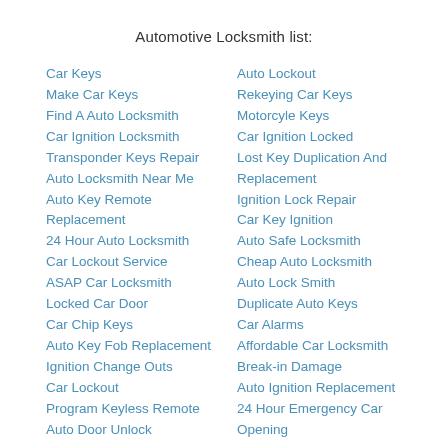Automotive Locksmith list:
Car Keys
Make Car Keys
Find A Auto Locksmith
Car Ignition Locksmith
Transponder Keys Repair
Auto Locksmith Near Me
Auto Key Remote Replacement
24 Hour Auto Locksmith
Car Lockout Service
ASAP Car Locksmith
Locked Car Door
Car Chip Keys
Auto Key Fob Replacement
Ignition Change Outs
Car Lockout
Program Keyless Remote
Auto Door Unlock
Auto Lockout
Rekeying Car Keys
Motorcyle Keys
Car Ignition Locked
Lost Key Duplication And Replacement
Ignition Lock Repair
Car Key Ignition
Auto Safe Locksmith
Cheap Auto Locksmith
Auto Lock Smith
Duplicate Auto Keys
Car Alarms
Affordable Car Locksmith
Break-in Damage
Auto Ignition Replacement
24 Hour Emergency Car Opening